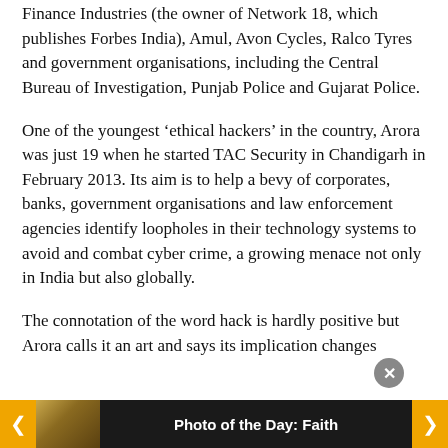Finance Industries (the owner of Network 18, which publishes Forbes India), Amul, Avon Cycles, Ralco Tyres and government organisations, including the Central Bureau of Investigation, Punjab Police and Gujarat Police.
One of the youngest ‘ethical hackers’ in the country, Arora was just 19 when he started TAC Security in Chandigarh in February 2013. Its aim is to help a bevy of corporates, banks, government organisations and law enforcement agencies identify loopholes in their technology systems to avoid and combat cyber crime, a growing menace not only in India but also globally.
The connotation of the word hack is hardly positive but Arora calls it an art and says its implication changes
Photo of the Day: Faith